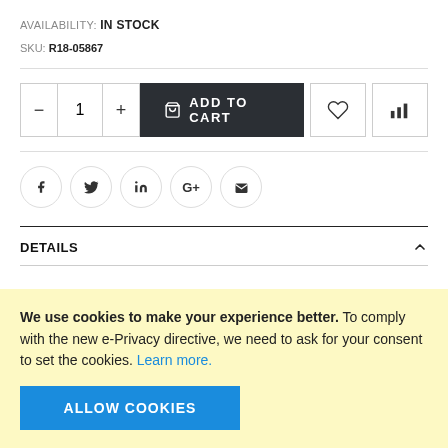AVAILABILITY: IN STOCK
SKU: R18-05867
[Figure (screenshot): Add to cart UI row with quantity selector (minus, 1, plus), dark ADD TO CART button with bag icon, heart icon button, and bar chart icon button]
[Figure (screenshot): Social sharing icons row: Facebook, Twitter, LinkedIn, Google+, Email — each in a circular bordered button]
DETAILS
We use cookies to make your experience better. To comply with the new e-Privacy directive, we need to ask for your consent to set the cookies. Learn more.
ALLOW COOKIES